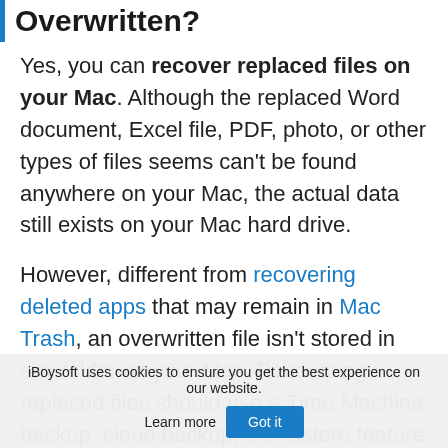Overwritten?
Yes, you can recover replaced files on your Mac. Although the replaced Word document, Excel file, PDF, photo, or other types of files seems can't be found anywhere on your Mac, the actual data still exists on your Mac hard drive.
However, different from recovering deleted apps that may remain in Mac Trash, an overwritten file isn't stored in any folder on your Mac. Recovering replaced files should use a Time Machine backup, cloud backup, the restore feature within the app you are using, or Mac file recovery software is the first
iBoysoft uses cookies to ensure you get the best experience on our website. Learn more  Got it